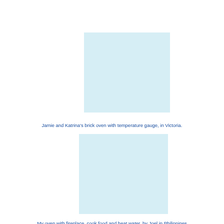[Figure (photo): A light blue placeholder rectangle representing a photo of Jamie and Katrina's brick oven with temperature gauge, in Victoria.]
Jamie and Katrina's brick oven with temperature gauge, in Victoria.
[Figure (photo): A light blue placeholder rectangle representing a photo of an oven with fireplace used to cook food and heat water, by Joel in Philippines.]
My oven with fireplace, cook food and heat water, by Joel in Philippines